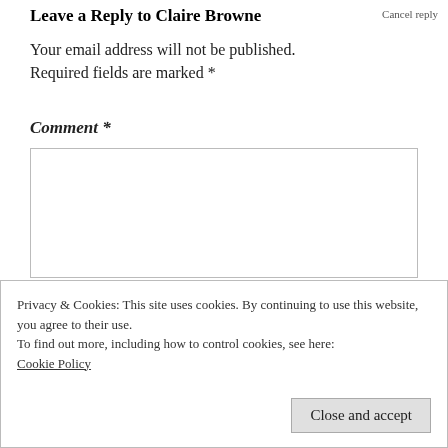Leave a Reply to Claire Browne
Your email address will not be published. Required fields are marked *
Comment *
Privacy & Cookies: This site uses cookies. By continuing to use this website, you agree to their use.
To find out more, including how to control cookies, see here: Cookie Policy